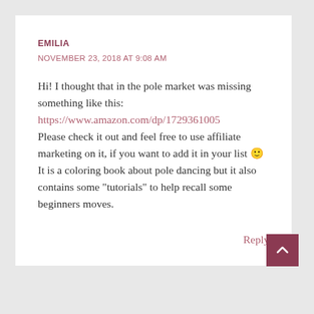EMILIA
NOVEMBER 23, 2018 AT 9:08 AM
Hi! I thought that in the pole market was missing something like this:
https://www.amazon.com/dp/1729361005
Please check it out and feel free to use affiliate marketing on it, if you want to add it in your list 🙂
It is a coloring book about pole dancing but it also contains some "tutorials" to help recall some beginners moves.
Reply